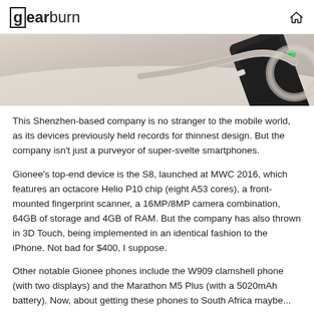gearburn
[Figure (photo): Close-up photo of a smartphone, likely a Gionee device, partially visible at the top of the page with a cable/charging connector visible]
This Shenzhen-based company is no stranger to the mobile world, as its devices previously held records for thinnest design. But the company isn't just a purveyor of super-svelte smartphones.
Gionee's top-end device is the S8, launched at MWC 2016, which features an octacore Helio P10 chip (eight A53 cores), a front-mounted fingerprint scanner, a 16MP/8MP camera combination, 64GB of storage and 4GB of RAM. But the company has also thrown in 3D Touch, being implemented in an identical fashion to the iPhone. Not bad for $400, I suppose.
Other notable Gionee phones include the W909 clamshell phone (with two displays) and the Marathon M5 Plus (with a 5020mAh battery). Now, about getting these phones to South Africa maybe...